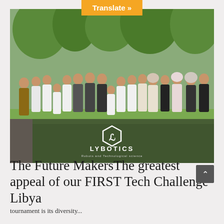[Figure (photo): Group photo of approximately 20 people including youth participants wearing white Lybotics hoodies and adults, standing outdoors on a lawn with trees in background. Lybotics logo (hexagonal badge with 'L' symbol) and text 'LYBOTICS - Robots and Technological science' overlaid at the bottom center of the photo.]
The Future MakersThe greatest appeal of our FIRST Tech Challenge Libya
tournament is its diversity...